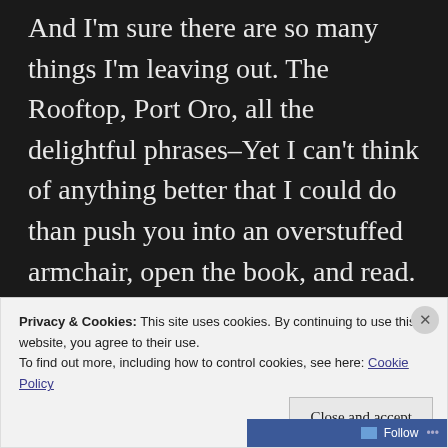And I'm sure there are so many things I'm leaving out. The Rooftop, Port Oro, all the delightful phrases–Yet I can't think of anything better that I could do than push you into an overstuffed armchair, open the book, and read.
Some things you just can't explain unless you've been there.
Privacy & Cookies: This site uses cookies. By continuing to use this website, you agree to their use. To find out more, including how to control cookies, see here: Cookie Policy
Close and accept